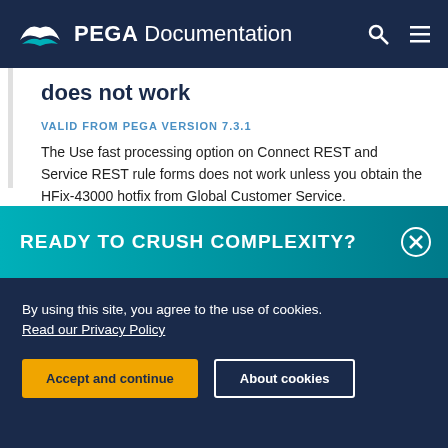PEGA Documentation
does not work
VALID FROM PEGA VERSION 7.3.1
The Use fast processing option on Connect REST and Service REST rule forms does not work unless you obtain the HFix-43000 hotfix from Global Customer Service.
Use the following data model guidelines when using fast processing:
[Figure (screenshot): Promotional banner: READY TO CRUSH COMPLEXITY? with teal gradient background and close button]
By using this site, you agree to the use of cookies. Read our Privacy Policy
Accept and continue | About cookies